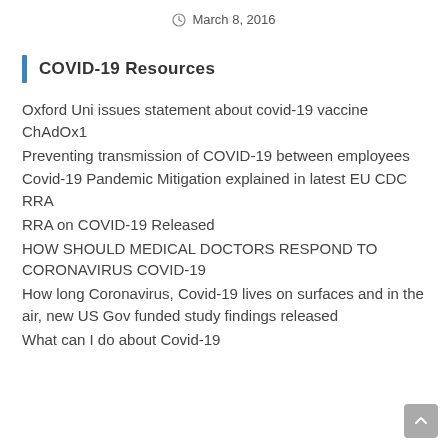March 8, 2016
COVID-19 Resources
Oxford Uni issues statement about covid-19 vaccine ChAdOx1
Preventing transmission of COVID-19 between employees
Covid-19 Pandemic Mitigation explained in latest EU CDC RRA
RRA on COVID-19 Released
HOW SHOULD MEDICAL DOCTORS RESPOND TO CORONAVIRUS COVID-19
How long Coronavirus, Covid-19 lives on surfaces and in the air, new US Gov funded study findings released
What can I do about Covid-19